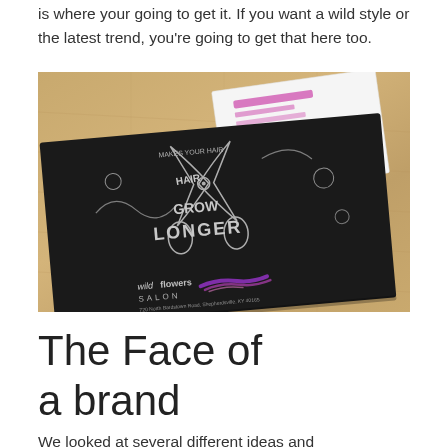is where your going to get it. If you want a wild style or the latest trend, you're going to get that here too.
[Figure (photo): A black promotional print/mat for Wildflowers Salon with chalk-style illustration of scissors and the text 'HAIR GROW LONGER' and 'wildflowers SALON', placed on a wooden floor alongside a white business card/flyer.]
The Face of a brand
We looked at several different ideas and